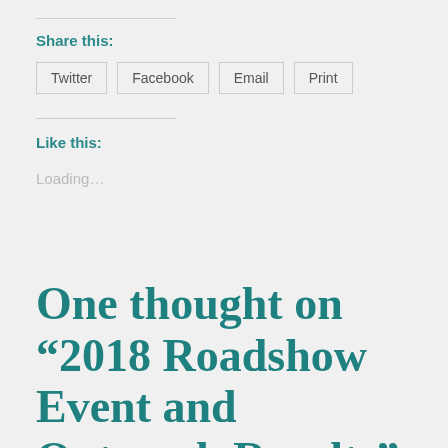Share this:
Twitter
Facebook
Email
Print
Like this:
Loading...
One thought on “2018 Roadshow Event and Outreach Results”